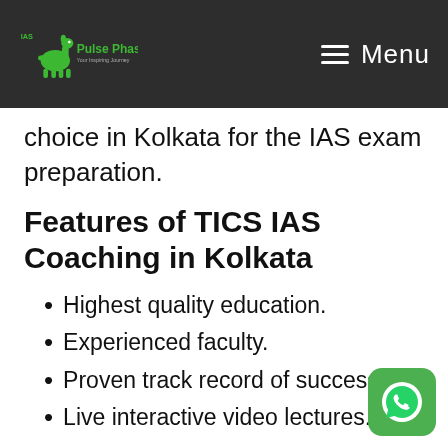Pulse Phase | Menu
choice in Kolkata for the IAS exam preparation.
Features of TICS IAS Coaching in Kolkata
Highest quality education.
Experienced faculty.
Proven track record of success.
Live interactive video lectures.